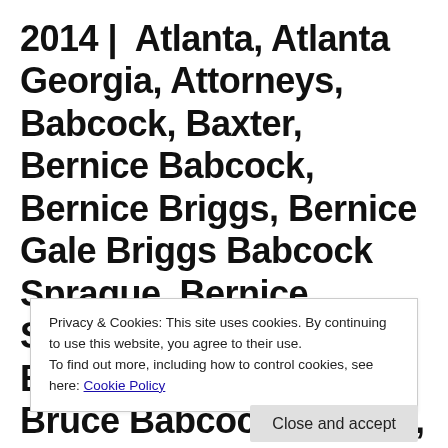2014 | Atlanta, Atlanta Georgia, Attorneys, Babcock, Baxter, Bernice Babcock, Bernice Briggs, Bernice Gale Briggs Babcock Sprague, Bernice Sprague, Bertha Gould Babcock, Boys, Briggs, Bruce Babcock, Buffalo, Buffalo New York, Career, Caucasians, Charles A Babcock, Children, Collins New
Privacy & Cookies: This site uses cookies. By continuing to use this website, you agree to their use.
To find out more, including how to control cookies, see here: Cookie Policy
Close and accept
...ection History, Extended Family, Family, Family History, Florida...